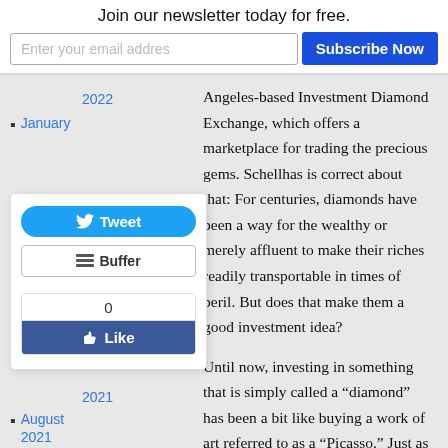Join our newsletter today for free.
Enter your email addres
Subscribe Now
2022
January
[Figure (screenshot): Social sharing overlay with Tweet button (Twitter), Buffer button, and Facebook Like widget showing 0 likes]
2021
August 2021
July 2021
June 2021
May 2021
Angeles-based Investment Diamond Exchange, which offers a marketplace for trading the precious gems. Schellhas is correct about that: For centuries, diamonds have been a way for the wealthy or merely affluent to make their riches readily transportable in times of peril. But does that make them a good investment idea?
Until now, investing in something that is simply called a “diamond” has been a bit like buying a work of art referred to as a “Picasso.” Just as you don’t know whether the latter is a reproduction, a sketch by the artist himself on a piece of